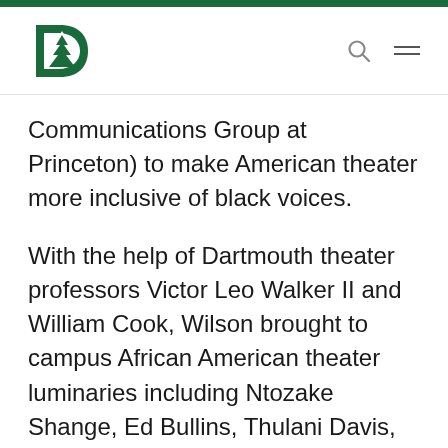Dartmouth website header with logo, search icon, and menu icon
Communications Group at Princeton) to make American theater more inclusive of black voices.
With the help of Dartmouth theater professors Victor Leo Walker II and William Cook, Wilson brought to campus African American theater luminaries including Ntozake Shange, Ed Bullins, Thulani Davis, Ricardo Khan, Robbie McCauley, Clinton Turner Davis, Ifa Bayeza, Paul Carter